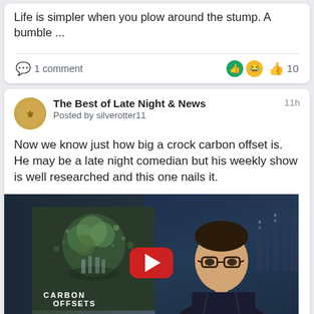Life is simpler when you plow around the stump. A bumble ...
1 comment
10
The Best of Late Night & News
Posted by silverotter11
11h
Now we know just how big a crock carbon offset is. He may be a late night comedian but his weekly show is well researched and this one nails it.
[Figure (screenshot): Video thumbnail showing 'Carbon Offsets' title card on left and a man with glasses on the right, with a YouTube play button overlay.]